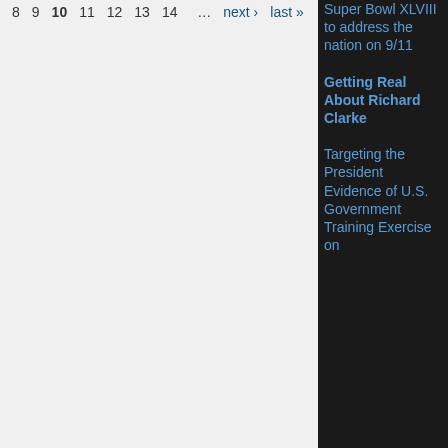8  9  10  11  12  13  14  …  next ›  last »
Super Bowl XLVIII to address the nation on 9/11
Getting Real About Richard Clarke
Targeting the President Evidence of U.S. Government Training Exercise on